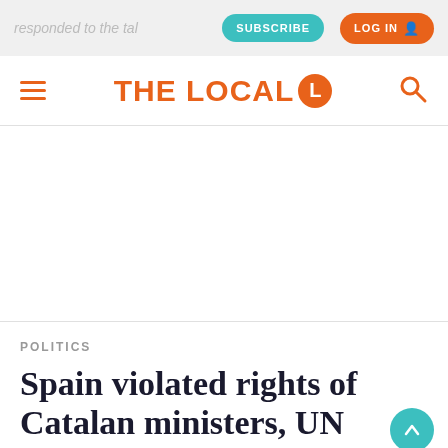responded to the tal... SUBSCRIBE LOG IN
THE LOCAL
POLITICS
Spain violated rights of Catalan ministers, UN